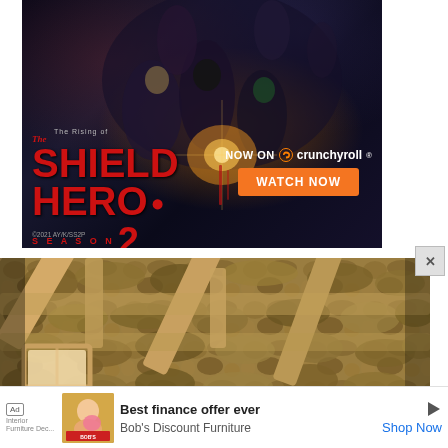[Figure (illustration): Advertisement banner for 'The Rising of the Shield Hero Season 2' anime on Crunchyroll. Dark fantasy artwork with multiple anime characters. Left side shows title text in red: 'The Rising of / The Shield Hero / Season 2'. Right side shows 'NOW ON Crunchyroll' logo and orange 'WATCH NOW' button. Copyright text: ©2021 AY/K/SS2P]
[Figure (photo): Interior photo of a rustic stone-walled room with exposed wooden ceiling beams. A small window on the left side lets in natural light. The walls are made of rough stone. The ceiling has diagonal wooden beam supports visible.]
[Figure (screenshot): Bottom advertisement bar: 'Ad' label, thumbnail image of Bob's Discount Furniture promotional material with baby/child image, text 'Best finance offer ever', 'Bob's Discount Furniture', 'Shop Now' link in blue. Play/arrow icon on right side.]